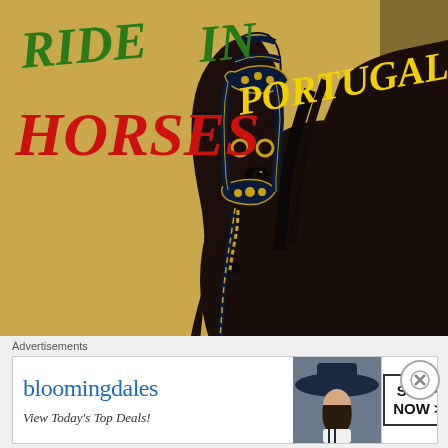[Figure (illustration): Promotional poster-style image of a dark bay horse wearing ornate dark blue bridle with gold fittings, posed against a golden/tan background. Overlaid text reads 'RIDE IN PORTUGAL!' in green and yellow italic letters, and 'HORSES' in red italic letters. Bottom of image shows partial view of decorative elements including roses and a rosette.]
Advertisements
[Figure (illustration): Bloomingdale's advertisement banner. Left side shows Bloomingdale's logo in blue cursive with tagline 'View Today's Top Deals!' Below in italic serif. Center shows a woman wearing a large wide-brim navy blue hat. Right side has a box with text 'SHOP NOW >']